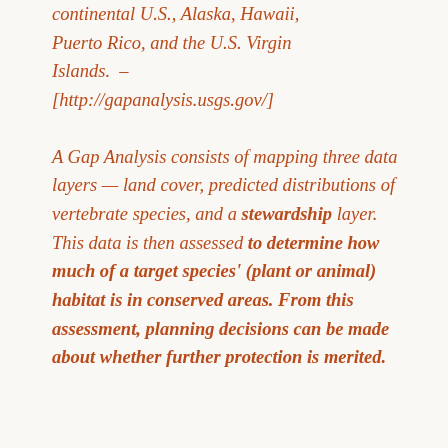continental U.S., Alaska, Hawaii, Puerto Rico, and the U.S. Virgin Islands.  –  [http://gapanalysis.usgs.gov/]
A Gap Analysis consists of mapping three data layers — land cover, predicted distributions of vertebrate species, and a stewardship layer. This data is then assessed to determine how much of a target species' (plant or animal) habitat is in conserved areas. From this assessment, planning decisions can be made about whether further protection is merited.